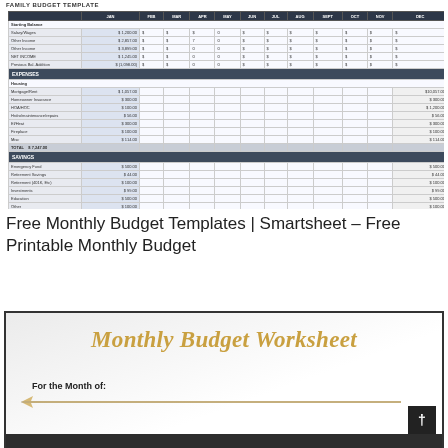FAMILY BUDGET TEMPLATE
[Figure (screenshot): Spreadsheet showing family budget template with income, expenses, savings sections and monthly columns JAN through DEC]
Free Monthly Budget Templates | Smartsheet – Free Printable Monthly Budget
[Figure (infographic): Monthly Budget Worksheet decorative title page with cursive gold text and 'For the Month of:' label with arrow]